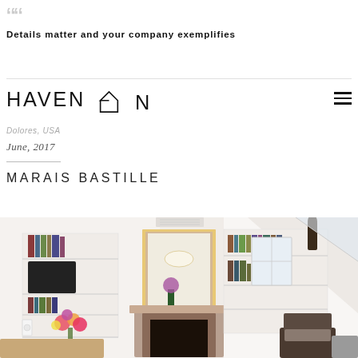““
Details matter and your company exemplifies
[Figure (logo): Haven In logo with house outline icon and hamburger menu icon]
Dolores, USA
June, 2017
MARAIS BASTILLE
[Figure (photo): Interior photo of a Parisian apartment living room with bookshelves, a fireplace with decorative mantel, a doorway with gold frame, white walls with skylights, and floral arrangement]